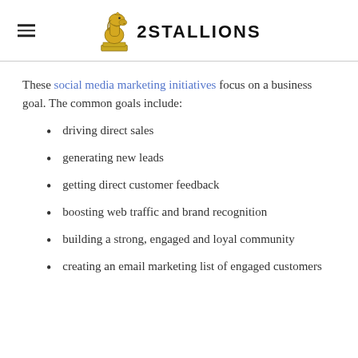2Stallions
These social media marketing initiatives focus on a business goal. The common goals include:
driving direct sales
generating new leads
getting direct customer feedback
boosting web traffic and brand recognition
building a strong, engaged and loyal community
creating an email marketing list of engaged customers